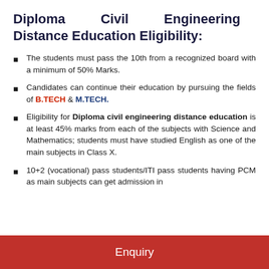Diploma Civil Engineering Distance Education Eligibility:
The students must pass the 10th from a recognized board with a minimum of 50% Marks.
Candidates can continue their education by pursuing the fields of B.TECH & M.TECH.
Eligibility for Diploma civil engineering distance education is at least 45% marks from each of the subjects with Science and Mathematics; students must have studied English as one of the main subjects in Class X.
10+2 (vocational) pass students/ITI pass students having PCM as main subjects can get admission in
Enquiry